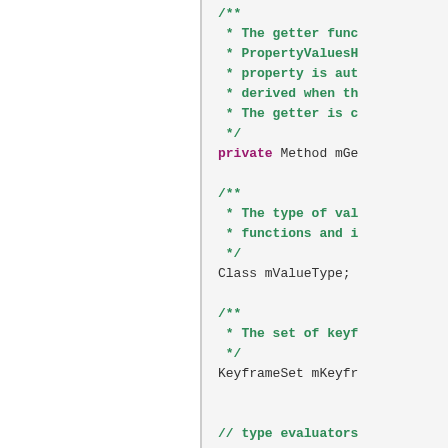[Figure (screenshot): Source code snippet showing Java class fields with Javadoc comments. Left panel is white/blank. Right panel shows code with comments in green and keywords in magenta/purple on a light gray background. Code includes comment blocks about getter function, PropertyValuesHolder, type of value, keyframe set, type evaluators, and private static final declarations.]